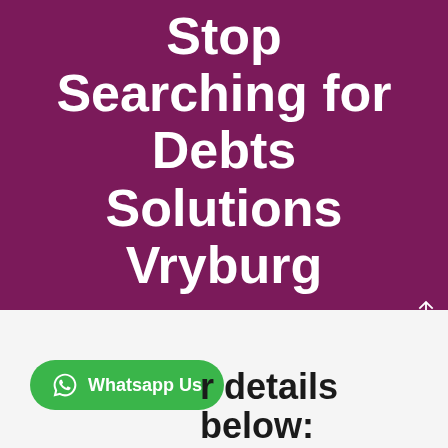Stop Searching for Debts Solutions Vryburg
CALL US NOW
[Figure (other): WhatsApp Us button with green pill-shaped background and WhatsApp logo icon]
r details below: